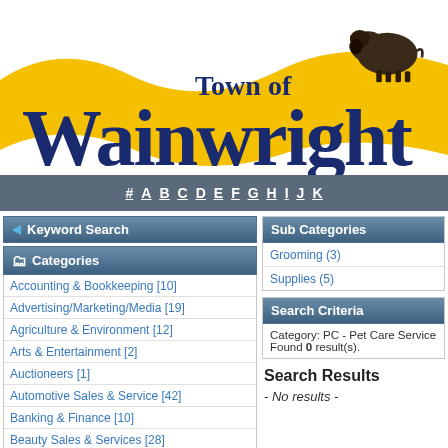[Figure (logo): Town of Wainwright logo with bison and yellow wave banner]
# A B C D E F G H I J K
Keyword Search
Categories
Accounting & Bookkeeping [10]
Advertising/Marketing/Media [19]
Agriculture & Environment [12]
Arts & Entertainment [2]
Auctioneers [1]
Automotive Sales & Service [42]
Banking & Finance [10]
Beauty Sales & Services [28]
Cleaning [14]
Computers, Internet, Electronics [7]
Sub Categories
Grooming (3)
Supplies (5)
Search Criteria
Category: PC - Pet Care Service Found 0 result(s).
Search Results
- No results -